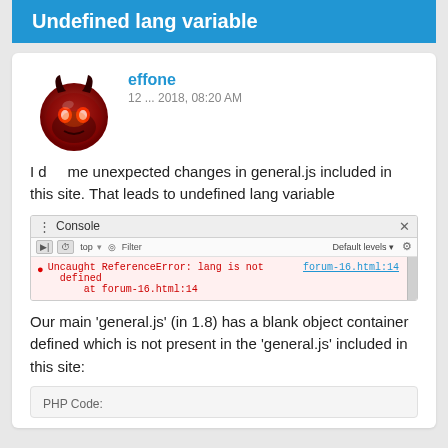Undefined lang variable
effone
12 ... 2018, 08:20 AM
I d... me unexpected changes in general.js included in this site. That leads to undefined lang variable
[Figure (screenshot): Browser Console showing: Uncaught ReferenceError: lang is not defined at forum-16.html:14, with link forum-16.html:14]
Our main 'general.js' (in 1.8) has a blank object container defined which is not present in the 'general.js' included in this site:
PHP Code: